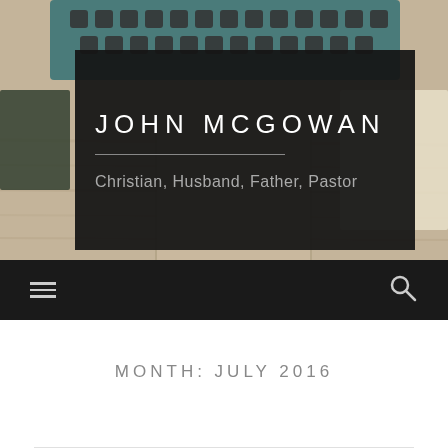[Figure (photo): Background photo showing a vintage typewriter keyboard and wooden desk surface with warm tones]
JOHN MCGOWAN
Christian, Husband, Father, Pastor
[Figure (infographic): Dark navigation bar with hamburger menu icon on left and search icon on right]
MONTH: JULY 2016